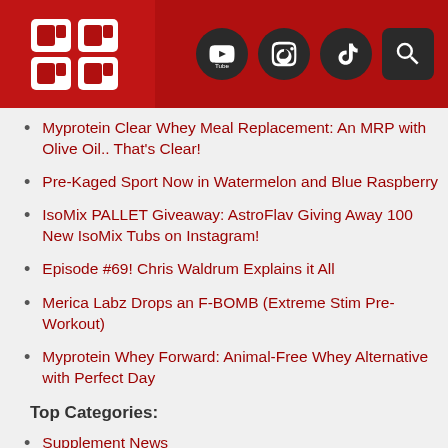PricePlow logo with YouTube, Instagram, TikTok, and Search icons
Myprotein Clear Whey Meal Replacement: An MRP with Olive Oil.. That's Clear!
Pre-Kaged Sport Now in Watermelon and Blue Raspberry
IsoMix PALLET Giveaway: AstroFlav Giving Away 100 New IsoMix Tubs on Instagram!
Episode #69! Chris Waldrum Explains it All
Merica Labz Drops an F-BOMB (Extreme Stim Pre-Workout)
Myprotein Whey Forward: Animal-Free Whey Alternative with Perfect Day
Top Categories:
Supplement News
Supplement Guides